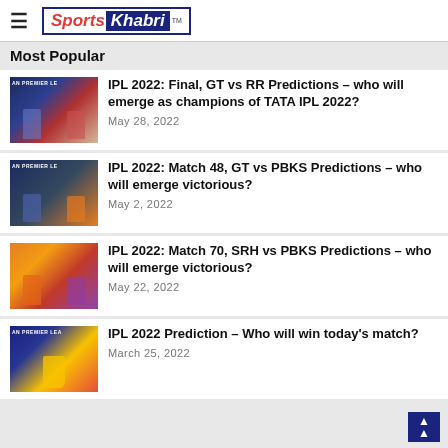Sports Khabri
Most Popular
[Figure (photo): IPL teams thumbnail image - GT vs RR]
IPL 2022: Final, GT vs RR Predictions – who will emerge as champions of TATA IPL 2022? | May 28, 2022
[Figure (photo): IPL teams thumbnail image - GT vs PBKS]
IPL 2022: Match 48, GT vs PBKS Predictions – who will emerge victorious? | May 2, 2022
[Figure (photo): IPL teams thumbnail image - SRH vs PBKS]
IPL 2022: Match 70, SRH vs PBKS Predictions – who will emerge victorious? | May 22, 2022
[Figure (photo): IPL 2022 trophy thumbnail image]
IPL 2022 Prediction – Who will win today's match? | March 25, 2022